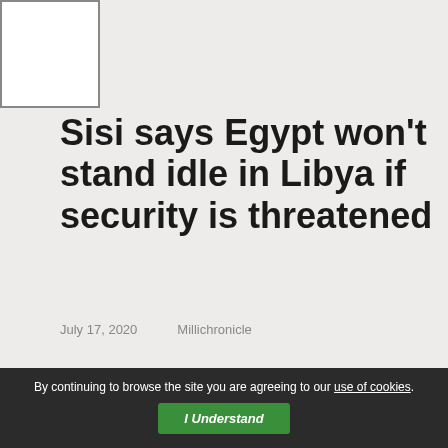Sisi says Egypt won't stand idle in Libya if security is threatened
July 17, 2020    Millichronicle
Cairo (Reuters) – Egypt will not stand idle in the face of any direct threat to Egyptian and Libyan security, President Abdel-Fattah al-Sisi said on Thursday, after lawmakers allied to commander Khalifa Haftar urged Cairo to intervene militarily in Libya's civil war.
Tribal leaders who flew in from Haftar's Benghazi stronghold told Sisi at a meeting in Cairo that they
By continuing to browse the site you are agreeing to our use of cookies.  I Understand